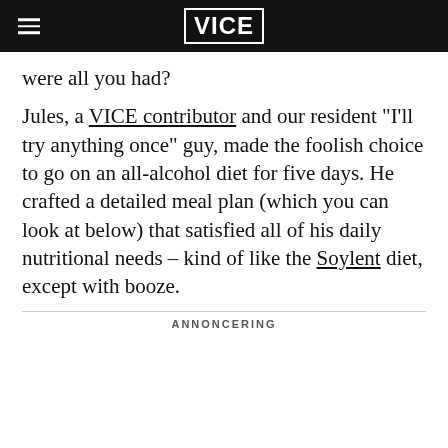VICE
were all you had?
Jules, a VICE contributor and our resident "I'll try anything once" guy, made the foolish choice to go on an all-alcohol diet for five days. He crafted a detailed meal plan (which you can look at below) that satisfied all of his daily nutritional needs – kind of like the Soylent diet, except with booze.
ANNONCERING